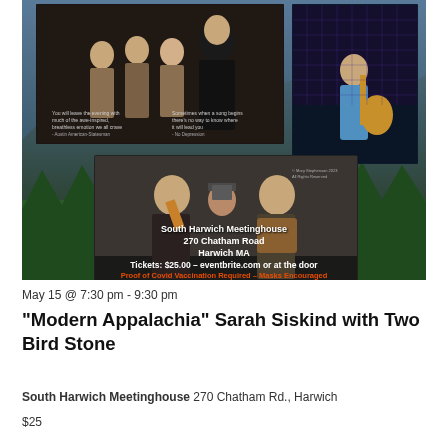[Figure (photo): Event promotional image with mountain/forest background, showing photos of performers including a group photo of musicians in khaki, a woman singer, a guitarist with blue stage lighting, and two musicians playing fiddle and accordion. Venue details overlaid: South Harwich Meetinghouse, 270 Chatham Road, Harwich MA. Tickets: $25.00 - eventbrite.com or at the door. Proof of Covid Vaccination Required - Masks Encouraged.]
May 15 @ 7:30 pm - 9:30 pm
“Modern Appalachia” Sarah Siskind with Two Bird Stone
South Harwich Meetinghouse 270 Chatham Rd., Harwich
$25